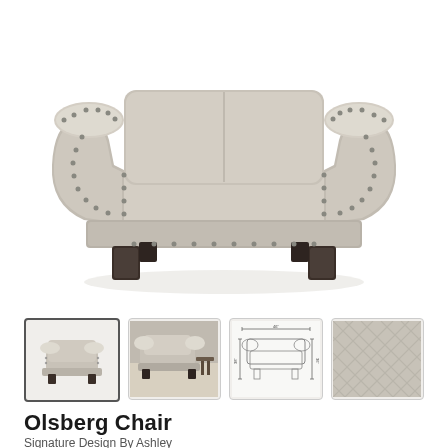[Figure (photo): Large main photo of the Olsberg Chair — a traditional upholstered armchair in light gray/taupe fabric with nailhead trim along the arms and back, rolled arms, and dark espresso wood legs, shown from a front-angled view against a white background.]
[Figure (photo): Thumbnail 1 (selected): Front view of the Olsberg Chair showing rolled arms and nailhead trim.]
[Figure (photo): Thumbnail 2: Angled/room setting view of the Olsberg Chair next to a side table.]
[Figure (engineering-diagram): Thumbnail 3: Dimension diagram of the Olsberg Chair showing measurements from multiple views.]
[Figure (photo): Thumbnail 4: Close-up texture/fabric swatch of the gray upholstery material showing quilted or woven pattern.]
Olsberg Chair
Signature Design By Ashley